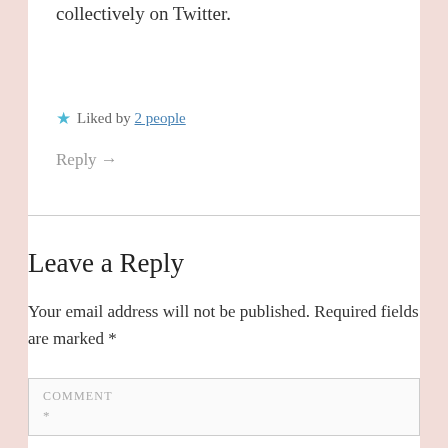things like word sprints that people do collectively on Twitter.
★ Liked by 2 people
Reply →
Leave a Reply
Your email address will not be published. Required fields are marked *
COMMENT *